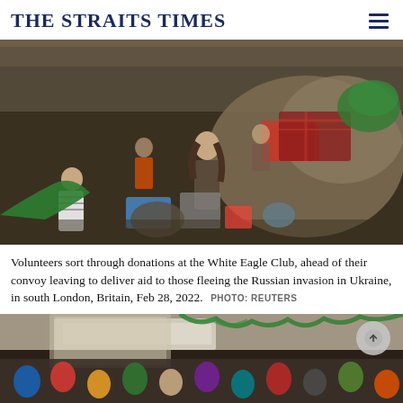THE STRAITS TIMES
[Figure (photo): Crowded room with volunteers sorting through piles of donated goods, bags, and boxes at the White Eagle Club in south London.]
Volunteers sort through donations at the White Eagle Club, ahead of their convoy leaving to deliver aid to those fleeing the Russian invasion in Ukraine, in south London, Britain, Feb 28, 2022. PHOTO: REUTERS
[Figure (photo): Second photo partially visible at the bottom of the page showing people gathered in a decorated room.]